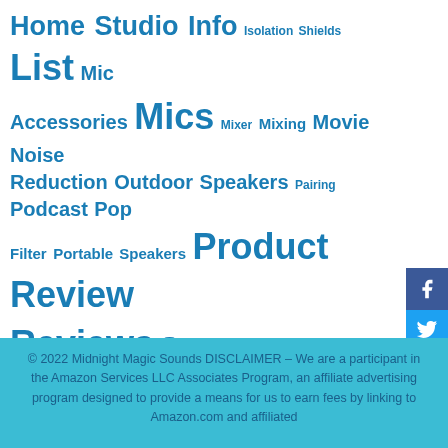Home Studio Info Isolation Shields List Mic Accessories Mics Mixer Mixing Movie Noise Reduction Outdoor Speakers Pairing Podcast Pop Filter Portable Speakers Product Review Reviews Songs Soundbars Sound Effects Sound Processing Sound Quality Speakers Stands Studio Studio Headphones Subwoofer Turntables Tutorials YouTube
[Figure (infographic): Social media share sidebar with buttons for Facebook, Twitter, Pinterest, LinkedIn, Email]
© 2022 Midnight Magic Sounds DISCLAIMER – We are a participant in the Amazon Services LLC Associates Program, an affiliate advertising program designed to provide a means for us to earn fees by linking to Amazon.com and affiliated